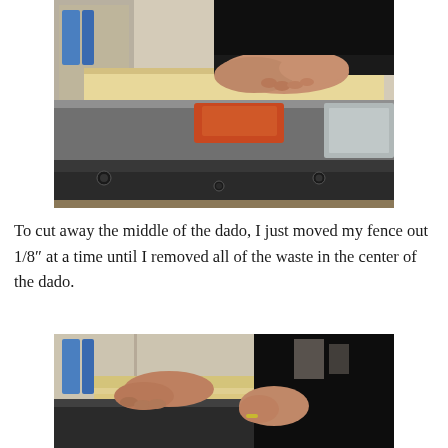[Figure (photo): Person's hands pressing a wood board through a table saw to cut a dado joint. The table saw surface and fence are visible.]
To cut away the middle of the dado, I just moved my fence out 1/8” at a time until I removed all of the waste in the center of the dado.
[Figure (photo): Hands operating a table saw to make dado cuts on a wood board, partially visible at the bottom of the page.]